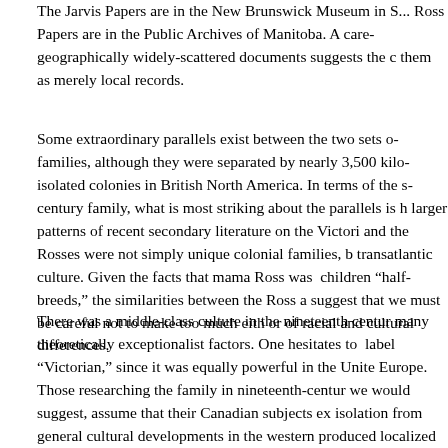The Jarvis Papers are in the New Brunswick Museum in S... Ross Papers are in the Public Archives of Manitoba. A care... geographically widely-scattered documents suggests the c... them as merely local records.
Some extraordinary parallels exist between the two sets o... families, although they were separated by nearly 3,500 kilo... isolated colonies in British North America. In terms of the s... century family, what is most striking about the parallels is h... larger patterns of recent secondary literature on the Victori... and the Rosses were not simply unique colonial families, b... transatlantic culture. Given the facts that mama Ross was ... children “half-breeds,” the similarities between the Ross a... suggest that we must be careful not to make too much eith... or of racial and cultural differences.
There was a middle-class culture in the nineteenth centur... many theoretically exceptionalist factors. One hesitates to ... label “Victorian,” since it was equally powerful in the Unite... Europe. Those researching the family in nineteenth-centur... we would suggest, assume that their Canadian subjects ex... isolation from general cultural developments in the western... produced localized and unique patterns of behaviour. Col...